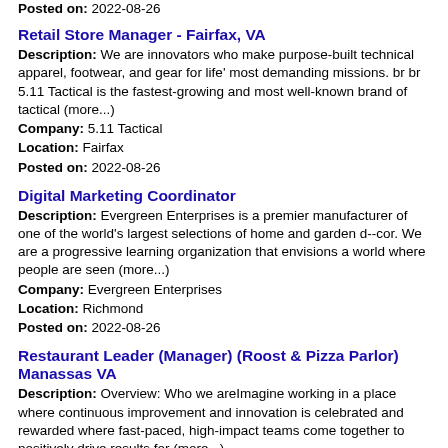Posted on: 2022-08-26
Retail Store Manager - Fairfax, VA
Description: We are innovators who make purpose-built technical apparel, footwear, and gear for life' most demanding missions. br br 5.11 Tactical is the fastest-growing and most well-known brand of tactical (more...) Company: 5.11 Tactical Location: Fairfax Posted on: 2022-08-26
Digital Marketing Coordinator
Description: Evergreen Enterprises is a premier manufacturer of one of the world's largest selections of home and garden d--cor. We are a progressive learning organization that envisions a world where people are seen (more...) Company: Evergreen Enterprises Location: Richmond Posted on: 2022-08-26
Restaurant Leader (Manager) (Roost & Pizza Parlor) Manassas VA
Description: Overview: Who we areImagine working in a place where continuous improvement and innovation is celebrated and rewarded where fast-paced, high-impact teams come together to positively drive results for (more...) Company: 7-Eleven, Inc. Location: Manassas